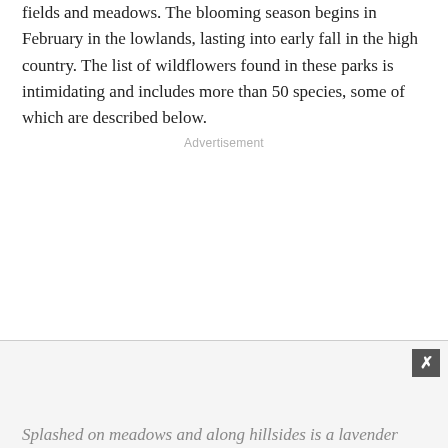fields and meadows. The blooming season begins in February in the lowlands, lasting into early fall in the high country. The list of wildflowers found in these parks is intimidating and includes more than 50 species, some of which are described below.
Advertisement
[Figure (other): Advertisement placeholder area with a close button (X) in the upper right corner]
Splashed on meadows and along hillsides is a lavender